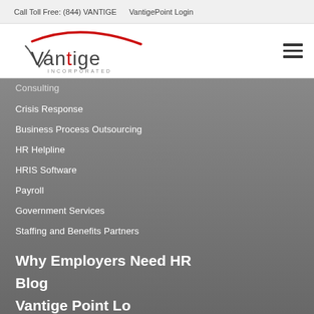Call Toll Free: (844) VANTIGE    VantigePoint Login
[Figure (logo): Vantige Incorporated logo with red arc and red letter i]
Consulting
Crisis Response
Business Process Outsourcing
HR Helpline
HRIS Software
Payroll
Government Services
Staffing and Benefits Partners
Why Employers Need HR
Blog
VantigePoint Login